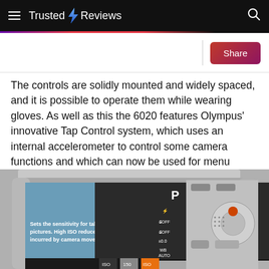Trusted Reviews
The controls are solidly mounted and widely spaced, and it is possible to operate them while wearing gloves. As well as this the 6020 features Olympus’ innovative Tap Control system, which uses an internal accelerometer to control some camera functions and which can now be used for menu navigation.
[Figure (photo): Back view of an Olympus 6020 compact digital camera showing the rear LCD screen displaying 'Sets the sensitivity for taking pictures. High ISO reduces blur incurred by camera movement.' with camera controls and dial on the right side.]